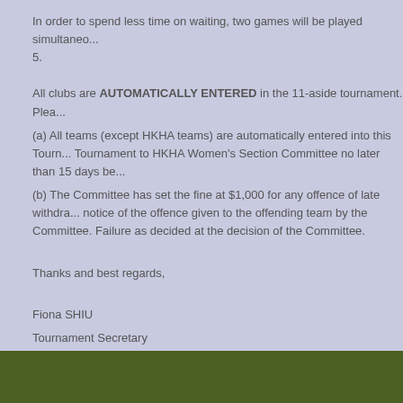In order to spend less time on waiting, two games will be played simultaneously. 5.
All clubs are AUTOMATICALLY ENTERED in the 11-aside tournament. Plea...
(a) All teams (except HKHA teams) are automatically entered into this Tournament to HKHA Women's Section Committee no later than 15 days be...
(b) The Committee has set the fine at $1,000 for any offence of late withdrawal notice of the offence given to the offending team by the Committee. Failure as decided at the decision of the Committee.
Thanks and best regards,
Fiona SHIU
Tournament Secretary
HKHA - Women's Section